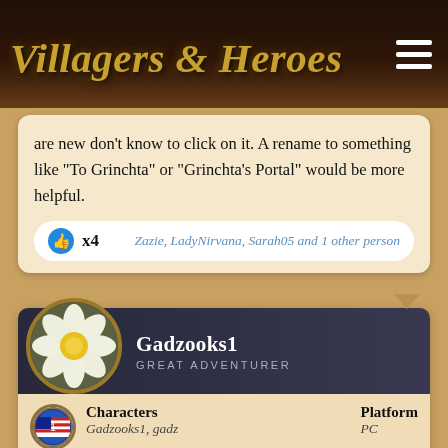Villagers & Heroes
are new don't know to click on it. A rename to something like "To Grinchta" or "Grinchta's Portal" would be more helpful.
x4   Zazie, LadyNirvana, Sarah05 and 1 other person
Gadzooks1
GREAT ADVENTURER
| Characters | Platform |
| --- | --- |
| Gadzooks1, gadz | PC |
If you Otters use the Christmas memory quest again next year, before Christmas you should do a